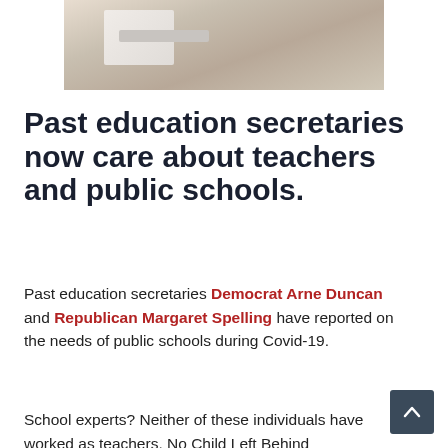[Figure (photo): A person sitting at a desk working on a computer with a keyboard visible, photographed from above/angle. Light wood desk surface.]
Past education secretaries now care about teachers and public schools.
Past education secretaries Democrat Arne Duncan and Republican Margaret Spelling have reported on the needs of public schools during Covid-19.
School experts? Neither of these individuals have worked as teachers. No Child Left Behind